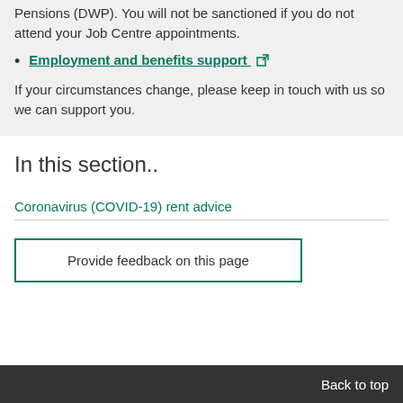Pensions (DWP). You will not be sanctioned if you do not attend your Job Centre appointments.
Employment and benefits support [external link]
If your circumstances change, please keep in touch with us so we can support you.
In this section..
Coronavirus (COVID-19) rent advice
Provide feedback on this page
Back to top